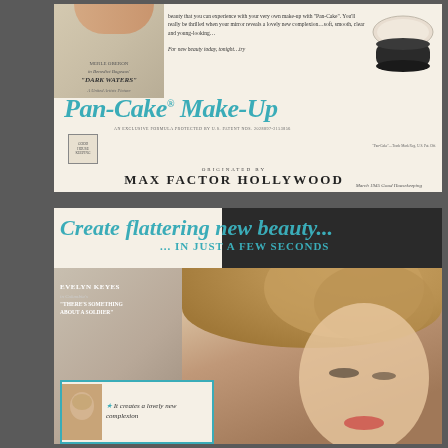[Figure (advertisement): Vintage Max Factor Pan-Cake Make-Up advertisement featuring Merle Oberon from 'Dark Waters', a United Artists Picture. Shows Pan-Cake Make-Up product and compact. Script logo reads 'Pan-Cake Make-Up', originated by Max Factor Hollywood. March 1945 Good Housekeeping.]
[Figure (advertisement): Vintage Max Factor Pan-Cake Make-Up advertisement featuring Evelyn Keyes in Columbia's 'There's Something About a Soldier'. Headline: 'Create flattering new beauty ... IN JUST A FEW SECONDS'. Bottom inset shows small portrait with text 'It creates a lovely new complexion'.]